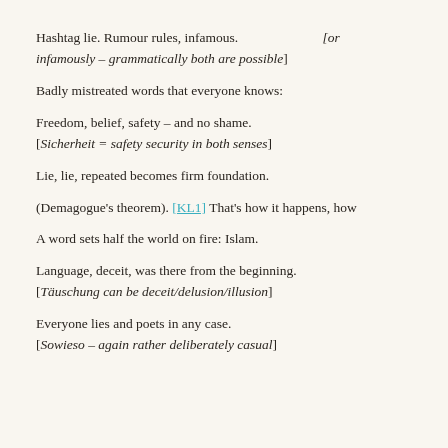Hashtag lie. Rumour rules, infamous.    [or infamously – grammatically both are possible]
Badly mistreated words that everyone knows:
Freedom, belief, safety – and no shame.
[Sicherheit = safety security in both senses]
Lie, lie, repeated becomes firm foundation.
(Demagogue's theorem). [KL1] That's how it happens, how
A word sets half the world on fire: Islam.
Language, deceit, was there from the beginning.
[Täuschung can be deceit/delusion/illusion]
Everyone lies and poets in any case.
[Sowieso – again rather deliberately casual]